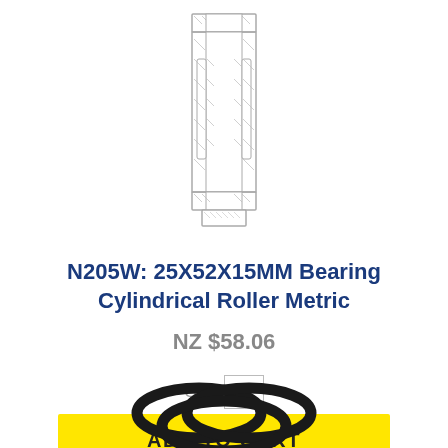[Figure (schematic): Technical schematic drawing of a cylindrical roller bearing N205W, shown in cross-section vertical orientation with hatched inner and outer rings and rollers visible.]
N205W: 25X52X15MM Bearing Cylindrical Roller Metric
NZ $58.06
Qty. 1
ADD TO CART
[Figure (photo): Photograph of black rubber O-rings, three rings partially overlapping each other, shown at the bottom of the page.]